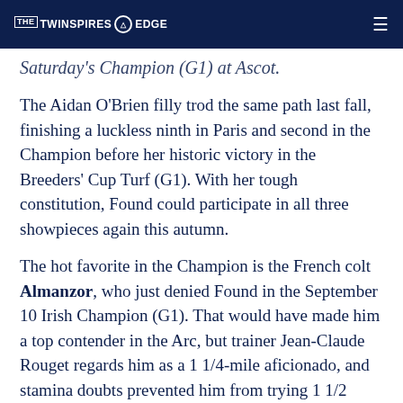THE TWINSPIRES EDGE
Saturday's Champion (G1) at Ascot.
The Aidan O'Brien filly trod the same path last fall, finishing a luckless ninth in Paris and second in the Champion before her historic victory in the Breeders' Cup Turf (G1). With her tough constitution, Found could participate in all three showpieces again this autumn.
The hot favorite in the Champion is the French colt Almanzor, who just denied Found in the September 10 Irish Champion (G1). That would have made him a top contender in the Arc, but trainer Jean-Claude Rouget regards him as a 1 1/4-mile aficionado, and stamina doubts prevented him from trying 1 1/2 miles at Chantilly. While Found's success in the Arc